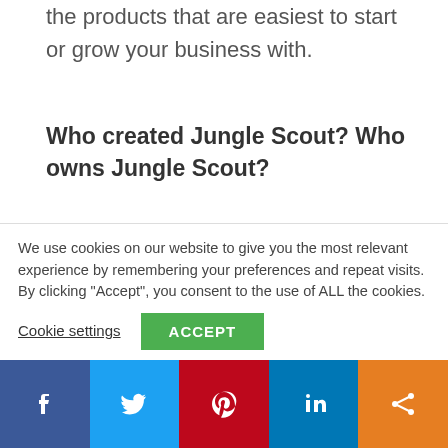the products that are easiest to start or grow your business with.
Who created Jungle Scout? Who owns Jungle Scout?
Jungle Scout was founded in 2015 by Greg Mercer as the solution to finding great products to sell on Amazon. Today, Jungle Scout provides a suite of
We use cookies on our website to give you the most relevant experience by remembering your preferences and repeat visits. By clicking “Accept”, you consent to the use of ALL the cookies.
Cookie settings  ACCEPT
[Figure (infographic): Social share bar with Facebook, Twitter, Pinterest, LinkedIn, and share buttons]